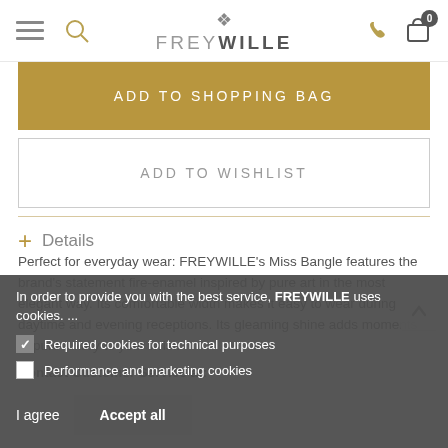FREYWILLE
ADD TO SHOPPING BAG
ADD TO WISHLIST
+ Details
Perfect for everyday wear: FREYWILLE's Miss Bangle features the brand's statement fire-enamel inspired by pure art in the most elegant way. Its comfortable width makes it easy to wear during daytime and evening receptions. Its gleaming shine adds moments of pure luxury to your wrist.
In order to provide you with the best service, FREYWILLE uses cookies. ...
Required cookies for technical purposes
Performance and marketing cookies
I agree
Accept all
Contact Customer Service at: